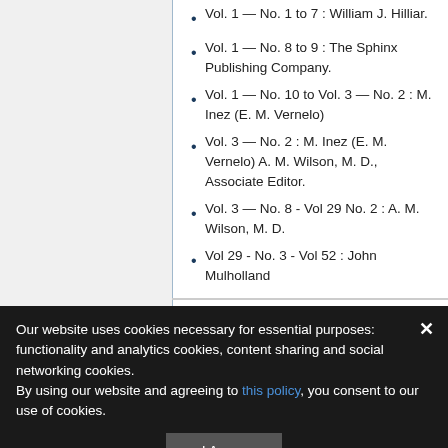Vol. 1 — No. 1 to 7 : William J. Hilliar.
Vol. 1 — No. 8 to 9 : The Sphinx Publishing Company.
Vol. 1 — No. 10 to Vol. 3 — No. 2 : M. Inez (E. M. Vernelo)
Vol. 3 — No. 2 : M. Inez (E. M. Vernelo) A. M. Wilson, M. D., Associate Editor.
Vol. 3 — No. 8 - Vol 29 No. 2 : A. M. Wilson, M. D.
Vol 29 - No. 3 - Vol 52 : John Mulholland
Our website uses cookies necessary for essential purposes: functionality and analytics cookies, content sharing and social networking cookies.
By using our website and agreeing to this policy, you consent to our use of cookies.